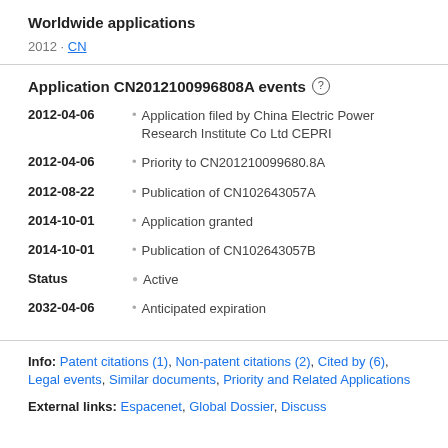Worldwide applications
2012 · CN
Application CN2012100996808A events
2012-04-06 • Application filed by China Electric Power Research Institute Co Ltd CEPRI
2012-04-06 • Priority to CN201210099680.8A
2012-08-22 • Publication of CN102643057A
2014-10-01 • Application granted
2014-10-01 • Publication of CN102643057B
Status • Active
2032-04-06 • Anticipated expiration
Info: Patent citations (1), Non-patent citations (2), Cited by (6), Legal events, Similar documents, Priority and Related Applications
External links: Espacenet, Global Dossier, Discuss